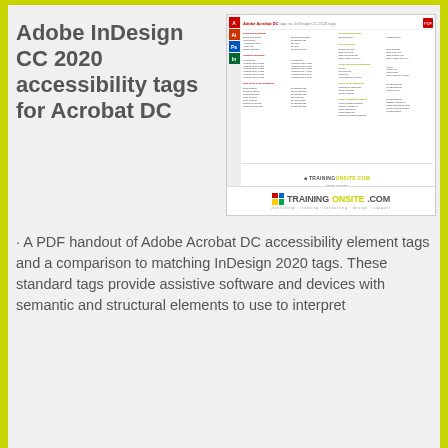Adobe InDesign CC 2020 accessibility tags for Acrobat DC
[Figure (screenshot): Thumbnail preview of a PDF handout showing Adobe Acrobat DC tags mapped to InDesign CC 2020 tags, with TrainingOnsite.com branding at the bottom]
· A PDF handout of Adobe Acrobat DC accessibility element tags and a comparison to matching InDesign 2020 tags. These standard tags provide assistive software and devices with semantic and structural elements to use to interpret